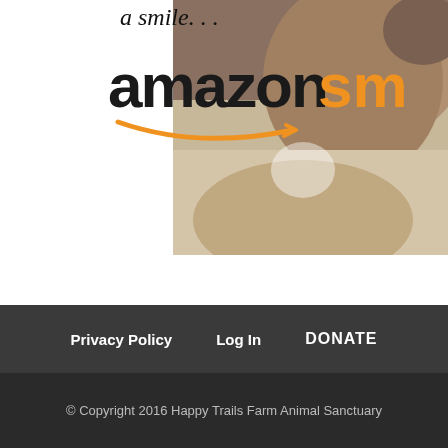[Figure (logo): AmazonSmile logo with 'a smile...' text above and animal photo on the right]
[Figure (illustration): Ohio horse license plate showing 'OHIO BIRTHPLACE OF AVIATION AAA000 Ohios Horses.com']
RENEWING YOUR PLATES?
Consider purchasing Ohio horse plates to help the Ohio Coalition for Animals help us.
Privacy Policy   Log In   DONATE
© Copyright 2016 Happy Trails Farm Animal Sanctuary